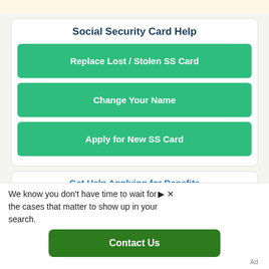Social Security Card Help
Replace Lost / Stolen SS Card
Change Your Name
Apply for New SS Card
Get Help Applying for Benefits
We know you don't have time to wait for the cases that matter to show up in your search.
Contact Us
Ad